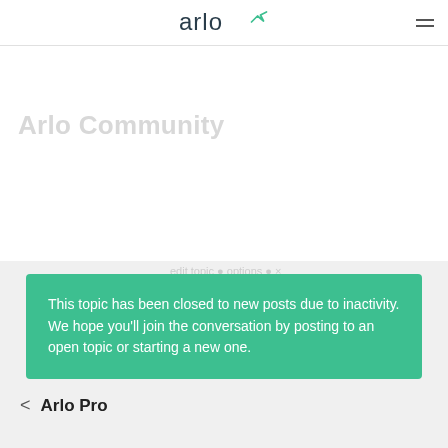arlo
Arlo Community
This topic has been closed to new posts due to inactivity. We hope you'll join the conversation by posting to an open topic or starting a new one.
< Arlo Pro